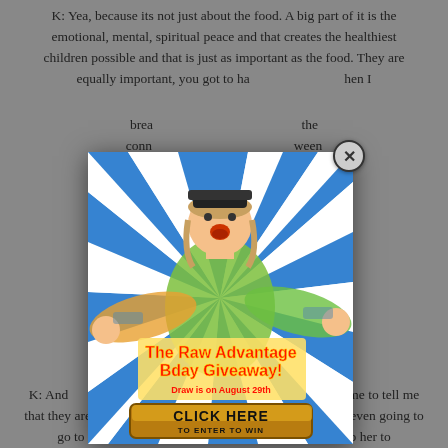K: Yea, because its not just about the food. A big part of it is the emotional, mental, spiritual peace and that creates the healthiest children possible and that is just as important as the food. They are equally important, you got to ha... ...hen I brea... ...the conn... ...ween the m... ...n, the life l... ...the moth... ...thing
[Figure (infographic): Popup advertisement for 'The Raw Advantage Bday Giveaway!' featuring a person with arms outstretched against a blue and white sunburst background. Text reads 'The Raw Advantage Bday Giveaway! Draw is on August 29th' with a gold button saying 'CLICK HERE TO ENTER TO WIN'. A close button (X) appears in the top-right corner.]
K: And... ...ng my classes come up to me to tell me that they are going to make some changes. One woman was even going to go to La Leche League to try to get a consultant to help her to